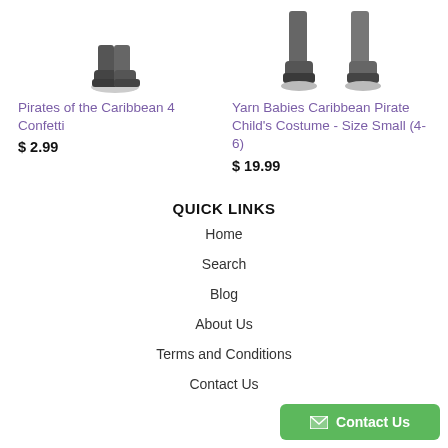[Figure (photo): Partial image of Pirates of the Caribbean 4 Confetti product - boots/legs area visible]
Pirates of the Caribbean 4 Confetti
$ 2.99
[Figure (photo): Partial image of Yarn Babies Caribbean Pirate Child's Costume - boots/legs area visible]
Yarn Babies Caribbean Pirate Child's Costume - Size Small (4-6)
$ 19.99
QUICK LINKS
Home
Search
Blog
About Us
Terms and Conditions
Contact Us